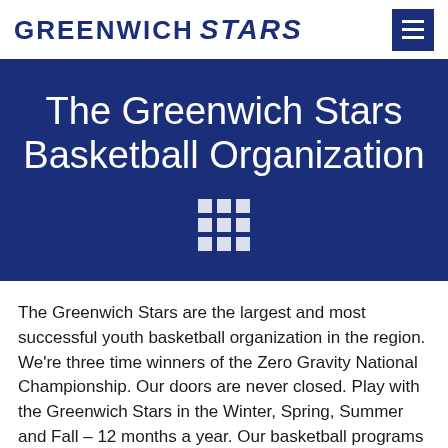GREENWICH STARS
The Greenwich Stars Basketball Organization
[Figure (illustration): 3x3 grid icon made of white squares on dark blue background]
The Greenwich Stars are the largest and most successful youth basketball organization in the region. We're three time winners of the Zero Gravity National Championship. Our doors are never closed. Play with the Greenwich Stars in the Winter, Spring, Summer and Fall – 12 months a year. Our basketball programs are for boys